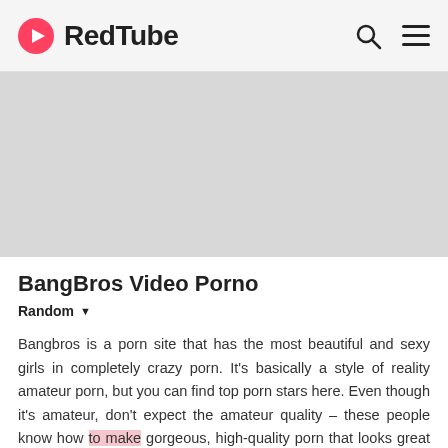RedTube
[Figure (other): Gray banner/advertisement placeholder area]
BangBros Video Porno
Random ▼
Bangbros is a porn site that has the most beautiful and sexy girls in completely crazy porn. It's basically a style of reality amateur porn, but you can find top porn stars here. Even though it's amateur, don't expect the amateur quality – these people know how to make gorgeous, high-quality porn that looks great on screens of all sizes. Their most famous porn site is probably Bang Bus, which brought